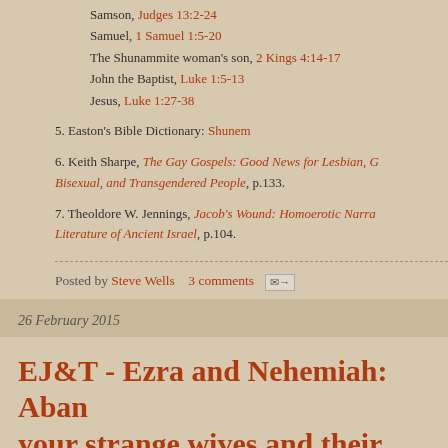Samson, Judges 13:2-24
Samuel, 1 Samuel 1:5-20
The Shunammite woman's son, 2 Kings 4:14-17
John the Baptist, Luke 1:5-13
Jesus, Luke 1:27-38
5. Easton's Bible Dictionary: Shunem
6. Keith Sharpe, The Gay Gospels: Good News for Lesbian, Gay, Bisexual, and Transgendered People, p.133.
7. Theoldore W. Jennings, Jacob's Wound: Homoerotic Narrative in the Literature of Ancient Israel, p.104.
Posted by Steve Wells   3 comments
26 February 2015
EJ&T - Ezra and Nehemiah: Abandon your strange wives and their strange children